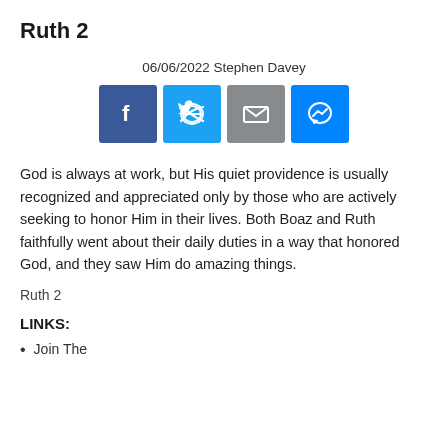Ruth 2
06/06/2022 Stephen Davey
[Figure (infographic): Four social media share buttons: Facebook (dark blue with f icon), Twitter (light blue with bird icon), Email (gray with envelope icon), Messenger (blue with lightning bolt/chat icon)]
God is always at work, but His quiet providence is usually recognized and appreciated only by those who are actively seeking to honor Him in their lives. Both Boaz and Ruth faithfully went about their daily duties in a way that honored God, and they saw Him do amazing things.
Ruth 2
LINKS:
Join The